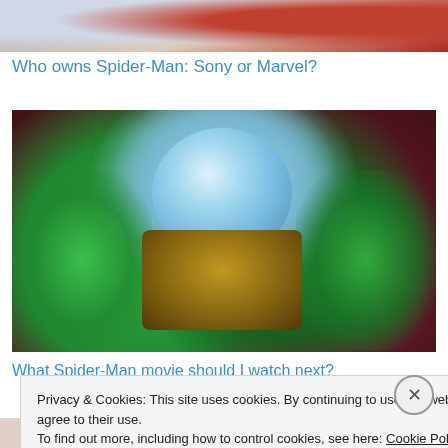[Figure (photo): Partial top image showing Spider-Man costume in red and blue with architectural background]
Who owns Spider-Man: Sony or Marvel?
[Figure (photo): Movie still of Mysterio character in gold armor with glass globe helmet surrounded by green smoke]
What Spider-Man movie should I watch next?
Privacy & Cookies: This site uses cookies. By continuing to use this website, you agree to their use.
To find out more, including how to control cookies, see here: Cookie Policy
Close and accept